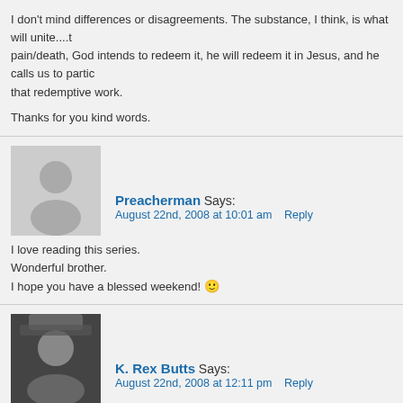I don't mind differences or disagreements. The substance, I think, is what will unite....pain/death, God intends to redeem it, he will redeem it in Jesus, and he calls us to participate in that redemptive work.

Thanks for you kind words.
Preacherman Says:
August 22nd, 2008 at 10:01 am   Reply

I love reading this series.
Wonderful brother.
I hope you have a blessed weekend! :)
K. Rex Butts Says:
August 22nd, 2008 at 12:11 pm   Reply

JMH,

Missionaries must always as the question of how to contextualize the gospel without allowing syncretism to take place. I believe this Americana/Christian (God, country, and family) that pervades our nation (and runs deeply among country-western music) is a big example of syncretism. The problem is that it is so easily accepted that it is hard to correct in a redemptive (not combative) manner.